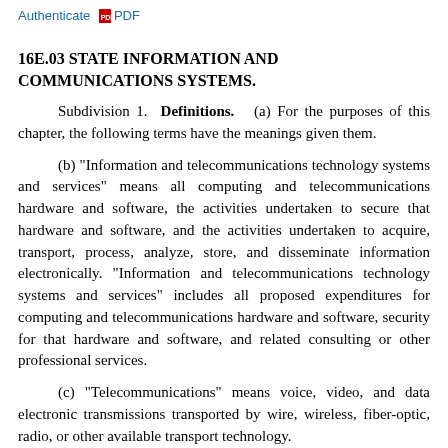Authenticate PDF
16E.03 STATE INFORMATION AND COMMUNICATIONS SYSTEMS.
Subdivision 1. Definitions. (a) For the purposes of this chapter, the following terms have the meanings given them.
(b) "Information and telecommunications technology systems and services" means all computing and telecommunications hardware and software, the activities undertaken to secure that hardware and software, and the activities undertaken to acquire, transport, process, analyze, store, and disseminate information electronically. "Information and telecommunications technology systems and services" includes all proposed expenditures for computing and telecommunications hardware and software, security for that hardware and software, and related consulting or other professional services.
(c) "Telecommunications" means voice, video, and data electronic transmissions transported by wire, wireless, fiber-optic, radio, or other available transport technology.